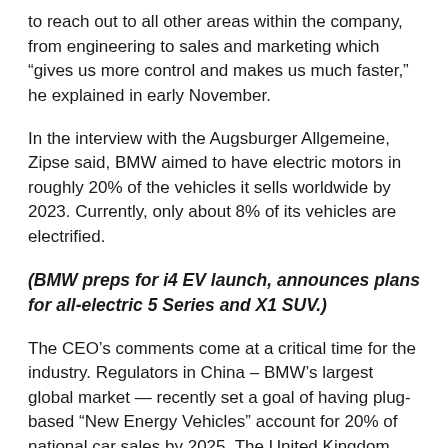to reach out to all other areas within the company, from engineering to sales and marketing which “gives us more control and makes us much faster,” he explained in early November.
In the interview with the Augsburger Allgemeine, Zipse said, BMW aimed to have electric motors in roughly 20% of the vehicles it sells worldwide by 2023. Currently, only about 8% of its vehicles are electrified.
(BMW preps for i4 EV launch, announces plans for all-electric 5 Series and X1 SUV.)
The CEO’s comments come at a critical time for the industry. Regulators in China – BMW’s largest global market — recently set a goal of having plug-based “New Energy Vehicles” account for 20% of national car sales by 2025. The United Kingdom has now set a target of ending sales of vehicles solely powered by gas or diesel by 2030, while Japan last week set a similar target to go into effect in 2035. California